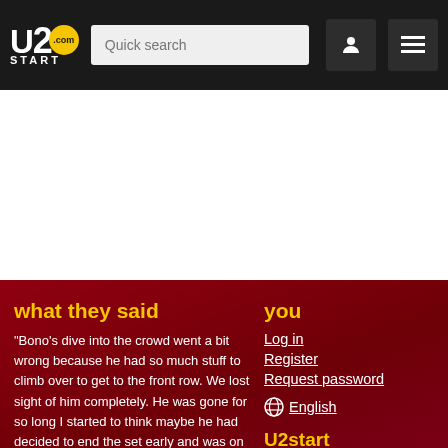U2start.com — Quick search | navigation icons
what they said
"Bono's dive into the crowd went a bit wrong because he had so much stuff to climb over to get to the front row. We lost sight of him completely. He was gone for so long I started to think maybe he had decided to end the set early and was on his way to the
you
Log in
Register
Request password
English
U2start
FAQ and information